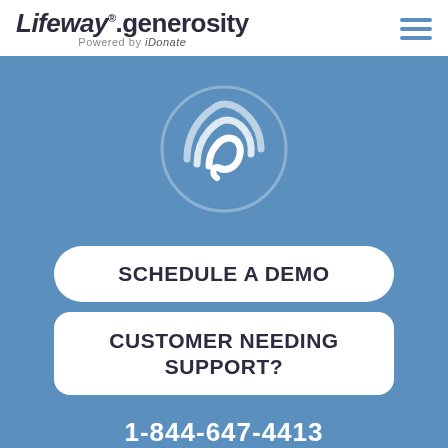[Figure (logo): Lifeway generosity logo with 'Powered by iDonate' subtitle and hamburger menu icon]
[Figure (logo): Circular wave/swirl icon in white on blue background]
SCHEDULE A DEMO
CUSTOMER NEEDING SUPPORT?
1-844-647-4413